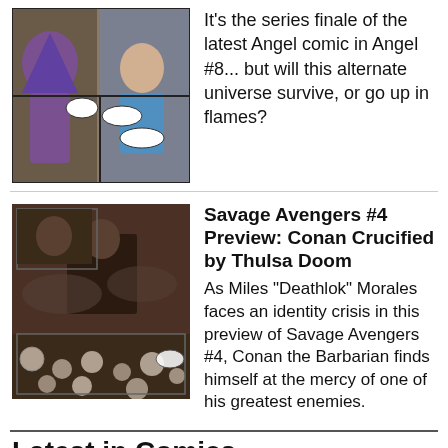[Figure (illustration): Comic book panel showing two characters, one in purple hood, in conversation scene]
It's the series finale of the latest Angel comic in Angel #8... but will this alternate universe survive, or go up in flames?
[Figure (illustration): Dark comic book panel showing skulls and a crucifixion scene from Savage Avengers #4]
Savage Avengers #4 Preview: Conan Crucified by Thulsa Doom
As Miles "Deathlok" Morales faces an identity crisis in this preview of Savage Avengers #4, Conan the Barbarian finds himself at the mercy of one of his greatest enemies.
Latest in Comics
Diamond Comic